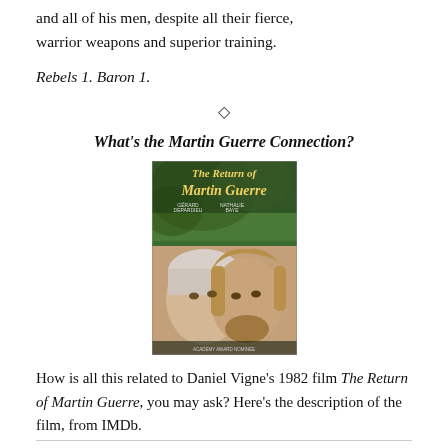and all of his men, despite all their fierce, warrior weapons and superior training.
Rebels 1. Baron 1.
◇
What's the Martin Guerre Connection?
[Figure (photo): Movie poster for 'The Return of Martin Guerre' showing two medieval-looking people, a woman and a man with a beard, with the film title in stylized text on a green and golden background.]
How is all this related to Daniel Vigne's 1982 film The Return of Martin Guerre, you may ask? Here's the description of the film, from IMDb.